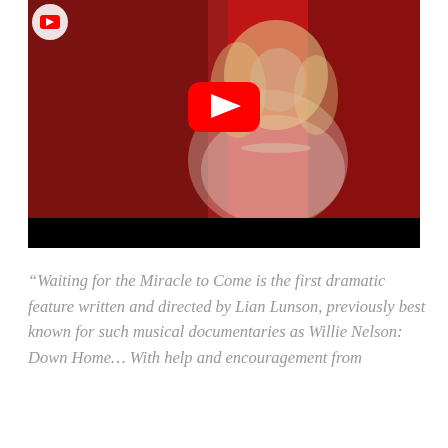[Figure (screenshot): YouTube video thumbnail showing a woman with platinum blonde curly hair wearing a white feathered outfit and pearl necklace against a deep red background. A red YouTube play button is centered on the image. A black bar runs along the bottom of the video frame.]
“Waiting for the Miracle to Come is the first dramatic feature written and directed by Lian Lunson, previously best known for such musical documentaries as Willie Nelson: Down Home… With help and encouragement from